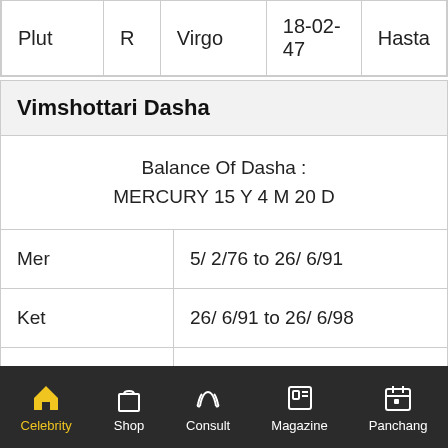| Plut | R | Virgo | 18-02-47 | Hasta |
| Vimshottari Dasha |
| --- |
| Balance Of Dasha : MERCURY 15 Y 4 M 20 D |
| Mer | 5/ 2/76 to 26/ 6/91 |
| Ket | 26/ 6/91 to 26/ 6/98 |
| Ven | 26/ 6/98 to 26/ 6/18 |
| Sun | 26/ 6/18 to 26/ 6/24 |
| Mon | 26/ 6/24 to 26/ 6/34 |
Celebrity  Shop  Consult  Magazine  Panchang